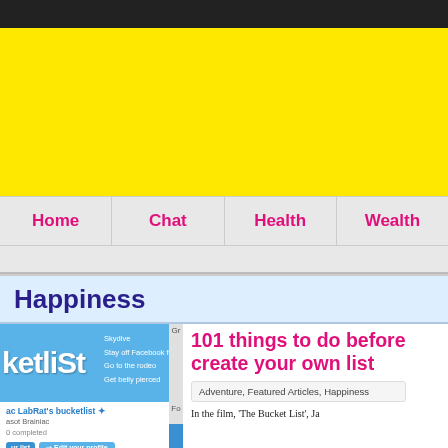[Figure (screenshot): Dark top navigation bar]
[Figure (screenshot): Yellow banner/advertisement area]
Home  Chat  Health  Wealth
Happiness
[Figure (screenshot): Bucket list website screenshot showing ketlist logo, skydive, stay off Facebook, go to the rodeo, get belly pierced, and user profile area]
101 things to do before create your own list
Adventure, Featured Articles, Happiness
In the film, 'The Bucket List', Ja